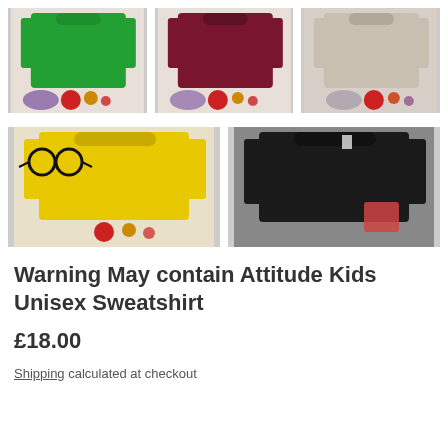[Figure (photo): Grid of 5 sweatshirts in different colors: green, burgundy/maroon, beige/stone (top row), yellow and black (bottom row), laid flat with decorative items]
Warning May contain Attitude Kids Unisex Sweatshirt
£18.00
Shipping calculated at checkout